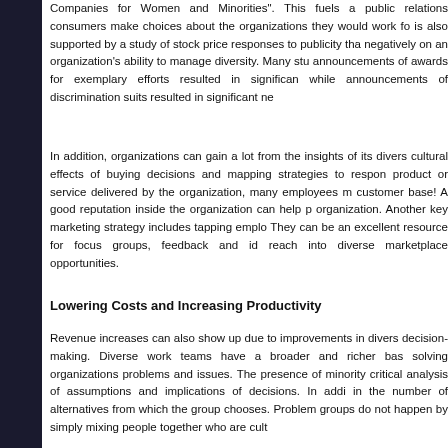Companies for Women and Minorities". This fuels a public relations consumers make choices about the organizations they would work fo is also supported by a study of stock price responses to publicity tha negatively on an organization’s ability to manage diversity. Many stu announcements of awards for exemplary efforts resulted in significan while announcements of discrimination suits resulted in significant ne
In addition, organizations can gain a lot from the insights of its divers cultural effects of buying decisions and mapping strategies to respon product or service delivered by the organization, many employees m customer base! A good reputation inside the organization can help p organization. Another key marketing strategy includes tapping emplo They can be an excellent resource for focus groups, feedback and id reach into diverse marketplace opportunities.
Lowering Costs and Increasing Productivity
Revenue increases can also show up due to improvements in divers decision-making. Diverse work teams have a broader and richer bas solving organizations problems and issues. The presence of minority critical analysis of assumptions and implications of decisions. In addi in the number of alternatives from which the group chooses. Problem groups do not happen by simply mixing people together who are cult